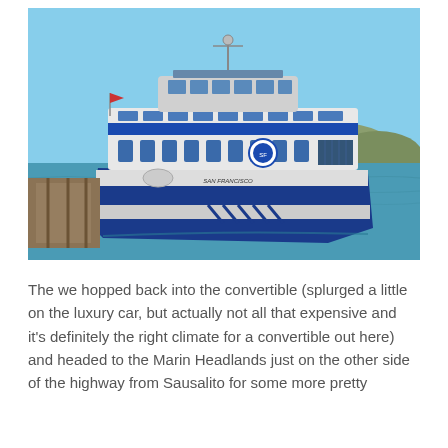[Figure (photo): A blue and white passenger ferry named 'San Francisco' docked at a pier, with calm blue-green water in the background and hills visible in the distance under a clear blue sky.]
The we hopped back into the convertible (splurged a little on the luxury car, but actually not all that expensive and it's definitely the right climate for a convertible out here) and headed to the Marin Headlands just on the other side of the highway from Sausalito for some more pretty